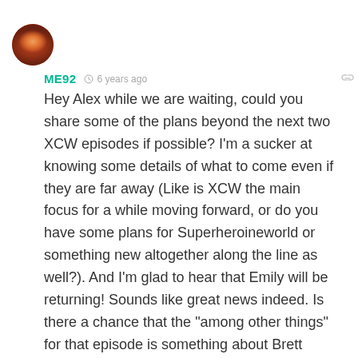[Figure (photo): Circular avatar image of user ME92 showing a colorful character/mascot]
ME92  6 years ago
Hey Alex while we are waiting, could you share some of the plans beyond the next two XCW episodes if possible? I'm a sucker at knowing some details of what to come even if they are far away (Like is XCW the main focus for a while moving forward, or do you have some plans for Superheroineworld or something new altogether along the line as well?). And I'm glad to hear that Emily will be returning! Sounds like great news indeed. Is there a chance that the "among other things" for that episode is something about Brett Rossi that was… Read more »